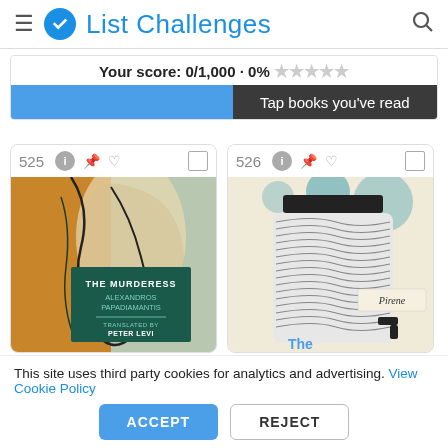List Challenges
Your score: 0/1,000 · 0% ★★★★★
Tap books you've read
[Figure (screenshot): Book card 525: The Murderess by Alexandros Papadiamantis, translated by Peter Levi]
[Figure (screenshot): Book card 526: Partially visible book cover with jar of coins, Pirene publisher label]
This site uses third party cookies for analytics and advertising. View Cookie Policy
ACCEPT
REJECT